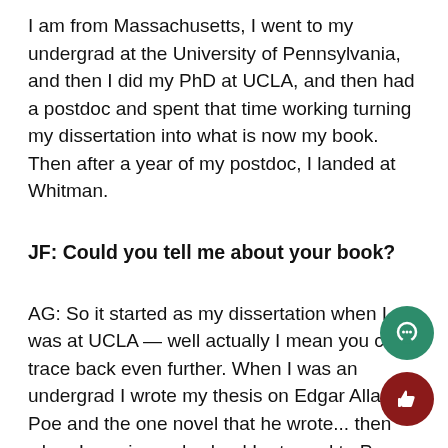I am from Massachusetts, I went to my undergrad at the University of Pennsylvania, and then I did my PhD at UCLA, and then had a postdoc and spent that time working turning my dissertation into what is now my book. Then after a year of my postdoc, I landed at Whitman.
JF: Could you tell me about your book?
AG: So it started as my dissertation when I was at UCLA — well actually I mean you could trace back even further. When I was an undergrad I wrote my thesis on Edgar Allan Poe and the one novel that he wrote... then when I was in grad school I returned to Poe for the first chapter of what became my dissertation.